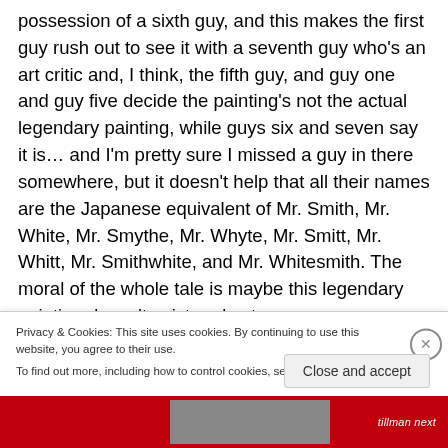possession of a sixth guy, and this makes the first guy rush out to see it with a seventh guy who's an art critic and, I think, the fifth guy, and guy one and guy five decide the painting's not the actual legendary painting, while guys six and seven say it is… and I'm pretty sure I missed a guy in there somewhere, but it doesn't help that all their names are the Japanese equivalent of Mr. Smith, Mr. White, Mr. Smythe, Mr. Whyte, Mr. Smitt, Mr. Whitt, Mr. Smithwhite, and Mr. Whitesmith. The moral of the whole tale is maybe this legendary painting doesn't exist and yet
Privacy & Cookies: This site uses cookies. By continuing to use this website, you agree to their use.
To find out more, including how to control cookies, see here: Cookie Policy
Close and accept